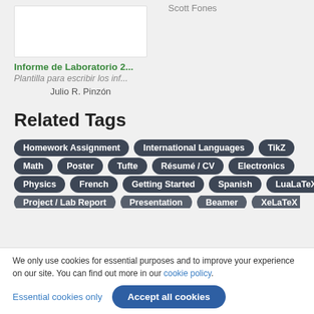[Figure (screenshot): Thumbnail of a lab report document]
Informe de Laboratorio 2...
Plantilla para escribir los inf...
Julio R. Pinzón
Related Tags
Homework Assignment
International Languages
TikZ
Math
Poster
Tufte
Résumé / CV
Electronics
Physics
French
Getting Started
Spanish
LuaLaTeX
Project / Lab Report
Presentation
Beamer
XeLaTeX
We only use cookies for essential purposes and to improve your experience on our site. You can find out more in our cookie policy.
Essential cookies only
Accept all cookies